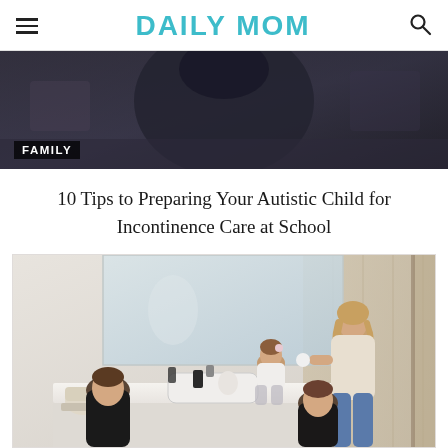DAILY MOM
[Figure (photo): Person wearing a dark navy hoodie sitting at a desk or table in a classroom/school setting, viewed from behind]
FAMILY
10 Tips to Preparing Your Autistic Child for Incontinence Care at School
[Figure (photo): A mother with two children in a modern bathroom. A boy is at the sink, a girl sits on the counter, and the mother stands interacting with another child. Clean, minimalist bathroom with large mirror.]